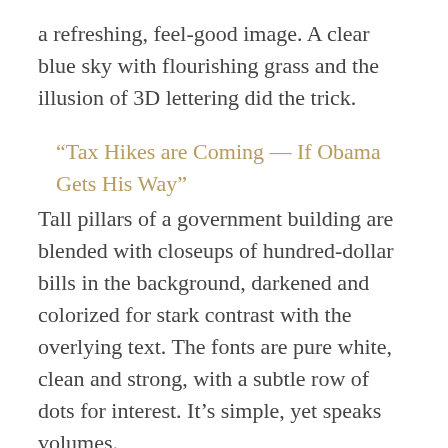a refreshing, feel-good image. A clear blue sky with flourishing grass and the illusion of 3D lettering did the trick.
“Tax Hikes are Coming — If Obama Gets His Way”
Tall pillars of a government building are blended with closeups of hundred-dollar bills in the background, darkened and colorized for stark contrast with the overlying text. The fonts are pure white, clean and strong, with a subtle row of dots for interest. It’s simple, yet speaks volumes.
“A Report from Tuscaloosa’s Ground